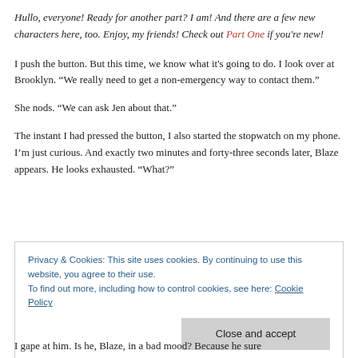Hullo, everyone! Ready for another part? I am! And there are a few new characters here, too. Enjoy, my friends! Check out Part One if you're new!
I push the button. But this time, we know what it's going to do. I look over at Brooklyn. “We really need to get a non-emergency way to contact them.”
She nods. “We can ask Jen about that.”
The instant I had pressed the button, I also started the stopwatch on my phone. I’m just curious. And exactly two minutes and forty-three seconds later, Blaze appears. He looks exhausted. “What?”
Privacy & Cookies: This site uses cookies. By continuing to use this website, you agree to their use. To find out more, including how to control cookies, see here: Cookie Policy
I gape at him. Is he, Blaze, in a bad mood? Because he sure